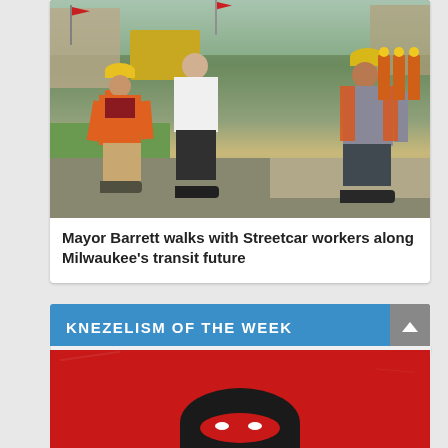[Figure (photo): Mayor Barrett walks with construction workers wearing orange safety vests and yellow hard hats along a street with heavy machinery and construction barrels in the background.]
Mayor Barrett walks with Streetcar workers along Milwaukee's transit future
KNEZELISM OF THE WEEK
[Figure (photo): Red and black abstract image, appearing to show a dark creature or face shape against a bright red background, partially cropped.]